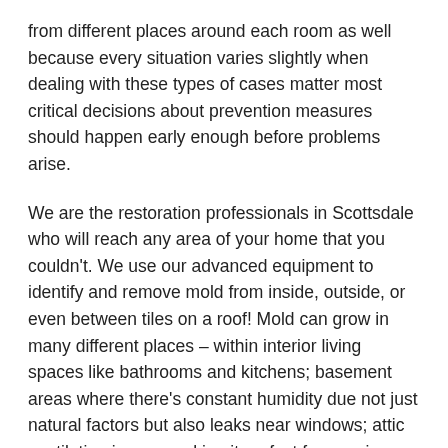from different places around each room as well because every situation varies slightly when dealing with these types of cases matter most critical decisions about prevention measures should happen early enough before problems arise.
We are the restoration professionals in Scottsdale who will reach any area of your home that you couldn't. We use our advanced equipment to identify and remove mold from inside, outside, or even between tiles on a roof! Mold can grow in many different places – within interior living spaces like bathrooms and kitchens; basement areas where there's constant humidity due not just natural factors but also leaks near windows; attic ventilation is poor making it perfect for growing fungus so this needs addressing before the issue gets even worse.